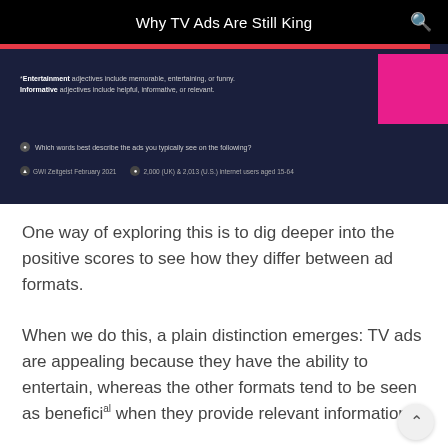Why TV Ads Are Still King
[Figure (screenshot): Dark navy background infographic snippet showing footnote text about Entertainment and Informative adjectives, a question about which words best describe ads, and source attribution to GWI Zeitgeist February 2021 with sample sizes 2,000 (UK) & 2,013 (U.S.) internet users aged 15-64. A red bar at top and a magenta/pink square in the upper right corner.]
One way of exploring this is to dig deeper into the positive scores to see how they differ between ad formats.
When we do this, a plain distinction emerges: TV ads are appealing because they have the ability to entertain, whereas the other formats tend to be seen as beneficial when they provide relevant information.